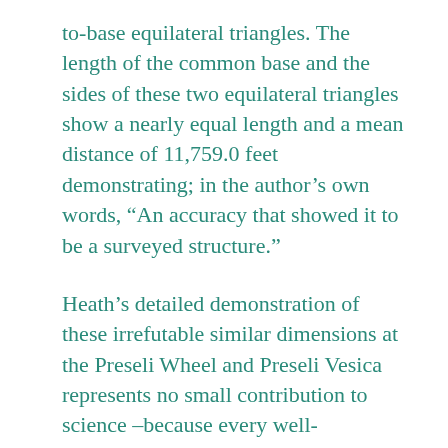to-base equilateral triangles. The length of the common base and the sides of these two equilateral triangles show a nearly equal length and a mean distance of 11,759.0 feet demonstrating; in the author's own words, “An accuracy that showed it to be a surveyed structure.”
Heath’s detailed demonstration of these irrefutable similar dimensions at the Preseli Wheel and Preseli Vesica represents no small contribution to science –because every well-documented opus elevates and substantiates the case for large-scale Neolithic metrology, precision alignments, as well as the broad based canons and traditions involving cycles,